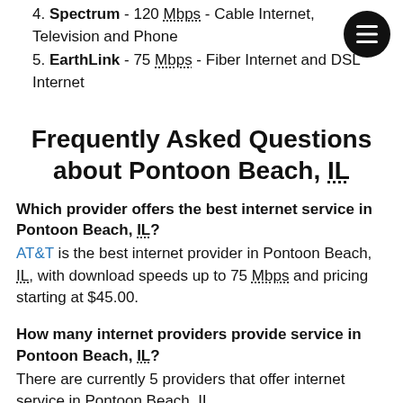4. Spectrum - 120 Mbps - Cable Internet, Television and Phone
5. EarthLink - 75 Mbps - Fiber Internet and DSL Internet
Frequently Asked Questions about Pontoon Beach, IL
Which provider offers the best internet service in Pontoon Beach, IL?
AT&T is the best internet provider in Pontoon Beach, IL, with download speeds up to 75 Mbps and pricing starting at $45.00.
How many internet providers provide service in Pontoon Beach, IL?
There are currently 5 providers that offer internet service in Pontoon Beach, IL.
What providers offer internet service in Pontoon